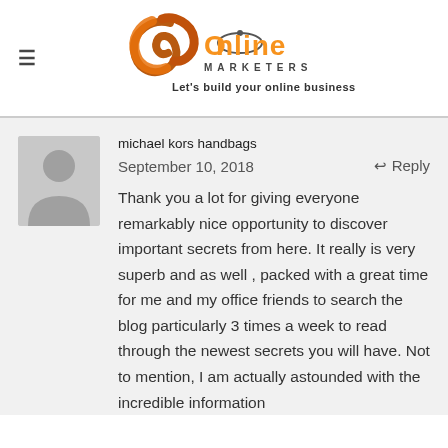[Figure (logo): JR Online Marketers logo with orange and dark swoosh graphic, text 'Online MARKETERS' and tagline 'Let's build your online business']
michael kors handbags
September 10, 2018    Reply
Thank you a lot for giving everyone remarkably nice opportunity to discover important secrets from here. It really is very superb and as well , packed with a great time for me and my office friends to search the blog particularly 3 times a week to read through the newest secrets you will have. Not to mention, I am actually astounded with the incredible information